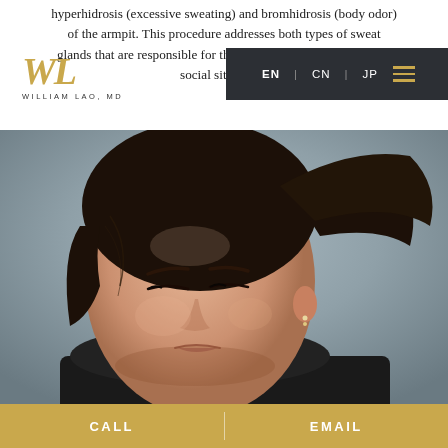hyperhidrosis (excessive sweating) and bromhidrosis (body odor) of the armpit. This procedure addresses both types of sweat glands that are responsible for these embarrassing symptoms in social situations.
[Figure (logo): WL monogram logo in gold italic serif font with 'WILLIAM LAO, MD' text below in spaced caps]
[Figure (screenshot): Navigation bar with dark background showing EN | CN | JP language options and gold hamburger menu icon]
[Figure (photo): Close-up portrait of a woman with dark hair pulled back, looking downward, wearing a black top, appearing to be exercising or sweating]
CALL   EMAIL